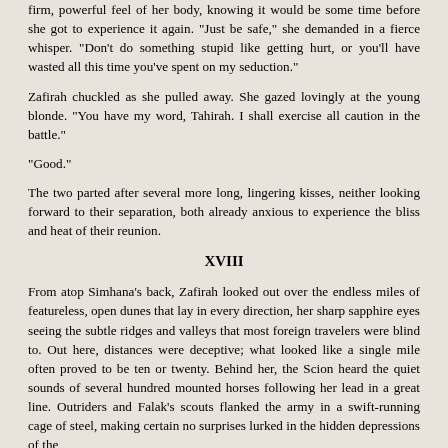firm, powerful feel of her body, knowing it would be some time before she got to experience it again. "Just be safe," she demanded in a fierce whisper. "Don’t do something stupid like getting hurt, or you’ll have wasted all this time you’ve spent on my seduction."
Zafirah chuckled as she pulled away. She gazed lovingly at the young blonde. "You have my word, Tahirah. I shall exercise all caution in the battle."
"Good."
The two parted after several more long, lingering kisses, neither looking forward to their separation, both already anxious to experience the bliss and heat of their reunion.
XVIII
From atop Simhana’s back, Zafirah looked out over the endless miles of featureless, open dunes that lay in every direction, her sharp sapphire eyes seeing the subtle ridges and valleys that most foreign travelers were blind to. Out here, distances were deceptive; what looked like a single mile often proved to be ten or twenty. Behind her, the Scion heard the quiet sounds of several hundred mounted horses following her lead in a great line. Outriders and Falak’s scouts flanked the army in a swift-running cage of steel, making certain no surprises lurked in the hidden depressions of the